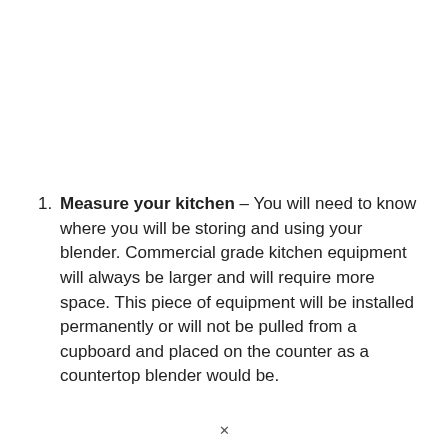Measure your kitchen – You will need to know where you will be storing and using your blender. Commercial grade kitchen equipment will always be larger and will require more space. This piece of equipment will be installed permanently or will not be pulled from a cupboard and placed on the counter as a countertop blender would be.